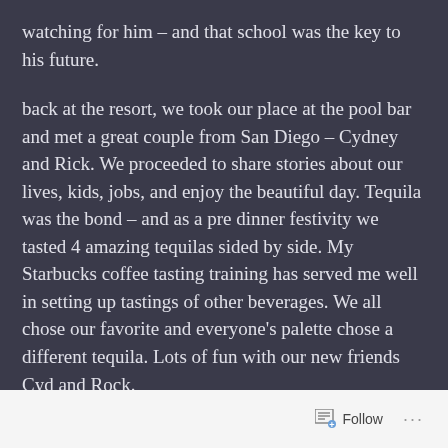watching for him – and that school was the key to his future.
back at the resort, we took our place at the pool bar and met a great couple from San Diego – Cydney and Rick. We proceeded to share stories about our lives, kids, jobs, and enjoy the beautiful day. Tequila was the bond – and as a pre dinner festivity we tasted 4 amazing tequilas sided by side. My Starbucks coffee tasting training has served me well in setting up tastings of other beverages. We all chose our favorite and everyone's palette chose a different tequila. Lots of fun with our new friends Cyd and Rock.
The night ended with some photography of the